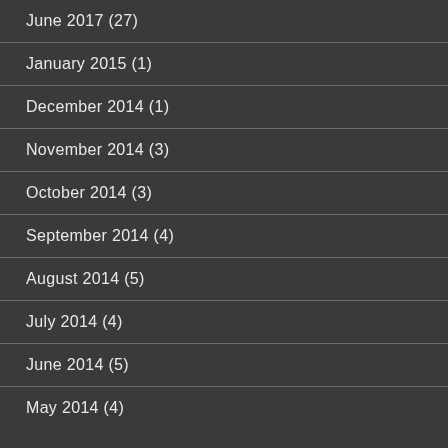June 2017 (27)
January 2015 (1)
December 2014 (1)
November 2014 (3)
October 2014 (3)
September 2014 (4)
August 2014 (5)
July 2014 (4)
June 2014 (5)
May 2014 (4)